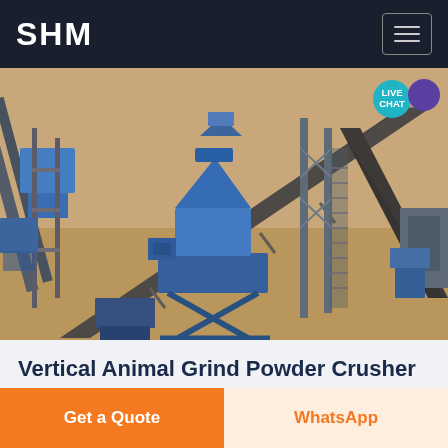SHM
[Figure (photo): Aerial view of an industrial crushing/grinding plant with blue conveyor belts, crusher machinery, steel framework structures, and a large cone crusher in the center, set on sandy/earthen ground.]
Vertical Animal Grind Powder Crusher And Crusher Machine For Sale
Get a Quote
WhatsApp